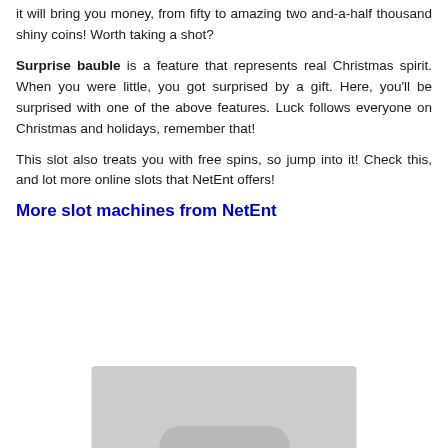it will bring you money, from fifty to amazing two and-a-half thousand shiny coins! Worth taking a shot?
Surprise bauble is a feature that represents real Christmas spirit. When you were little, you got surprised by a gift. Here, you'll be surprised with one of the above features. Luck follows everyone on Christmas and holidays, remember that!
This slot also treats you with free spins, so jump into it! Check this, and lot more online slots that NetEnt offers!
More slot machines from NetEnt
[Figure (photo): Partial image of a slot machine, shown as a gray placeholder rectangle at the bottom of the page]